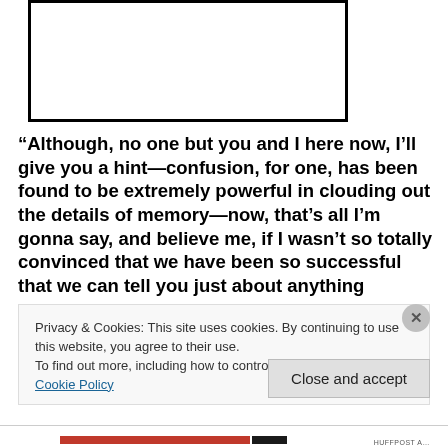[Figure (other): Empty white box with thick black border]
“Although, no one but you and I here now, I’ll give you a hint—confusion, for one, has been found to be extremely powerful in clouding out the details of memory—now, that’s all I’m gonna say, and believe me, if I wasn’t so totally convinced that we have been so successful that we can tell you just about anything
Privacy & Cookies: This site uses cookies. By continuing to use this website, you agree to their use.
To find out more, including how to control cookies, see here: Cookie Policy
Close and accept